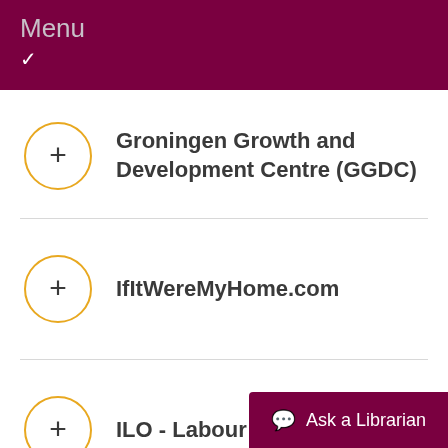Menu
Groningen Growth and Development Centre (GGDC)
IfItWereMyHome.com
ILO - Labour Force Surveys
Ask a Librarian